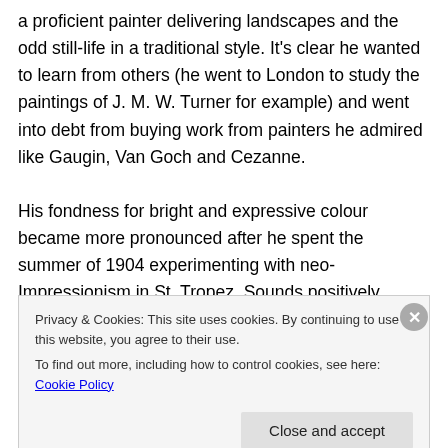a proficient painter delivering landscapes and the odd still-life in a traditional style. It's clear he wanted to learn from others (he went to London to study the paintings of J. M. W. Turner for example) and went into debt from buying work from painters he admired like Gaugin, Van Goch and Cezanne.
His fondness for bright and expressive colour became more pronounced after he spent the summer of 1904 experimenting with neo-Impressionism in St. Tropez. Sounds positively delightful doesn't it?  In the early 1900's, Matisse became part of a group of artists known as
Privacy & Cookies: This site uses cookies. By continuing to use this website, you agree to their use.
To find out more, including how to control cookies, see here: Cookie Policy